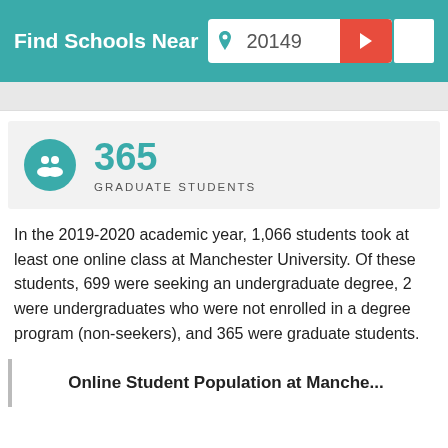Find Schools Near 20149
365
GRADUATE STUDENTS
In the 2019-2020 academic year, 1,066 students took at least one online class at Manchester University. Of these students, 699 were seeking an undergraduate degree, 2 were undergraduates who were not enrolled in a degree program (non-seekers), and 365 were graduate students.
Online Student Population at Manche...